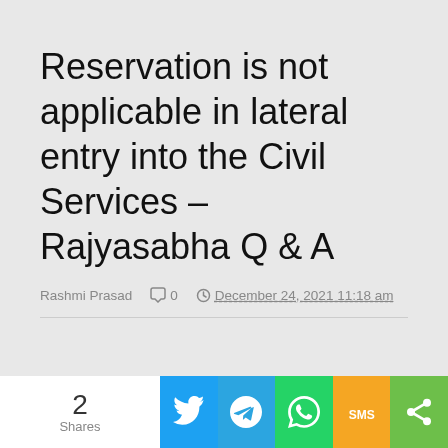Reservation is not applicable in lateral entry into the Civil Services – Rajyasabha Q & A
Rashmi Prasad   0   December 24, 2021 11:18 am
[Figure (infographic): Social sharing bar at bottom: shares count (2 Shares), Twitter button (blue), Telegram button (light blue), WhatsApp button (green), SMS button (yellow/orange), Share button (green)]